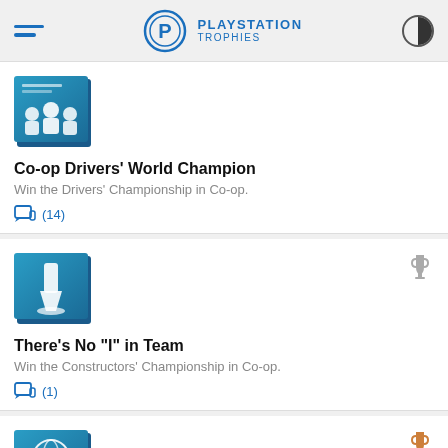PLAYSTATION TROPHIES
[Figure (illustration): Trophy card icon: teal/blue gradient square with people/team icon for Co-op Drivers World Champion]
Co-op Drivers' World Champion
Win the Drivers' Championship in Co-op.
(14)
[Figure (illustration): Trophy card icon: teal/blue gradient square with bolt/tool icon for There's No "I" in Team, with silver trophy badge]
There's No "I" in Team
Win the Constructors' Championship in Co-op.
(1)
[Figure (illustration): Trophy card icon: teal/blue gradient square with globe/world icon, partially visible at bottom, with bronze trophy badge]